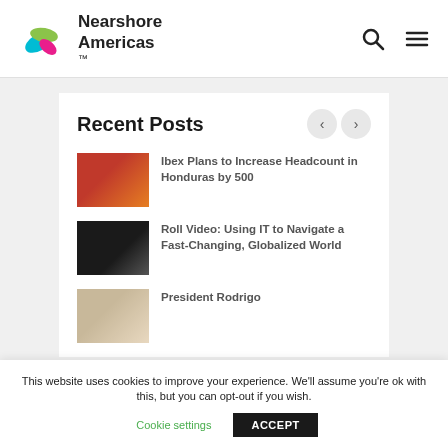Nearshore Americas
Recent Posts
Ibex Plans to Increase Headcount in Honduras by 500
Roll Video: Using IT to Navigate a Fast-Changing, Globalized World
President Rodrigo
This website uses cookies to improve your experience. We'll assume you're ok with this, but you can opt-out if you wish.
Cookie settings | ACCEPT